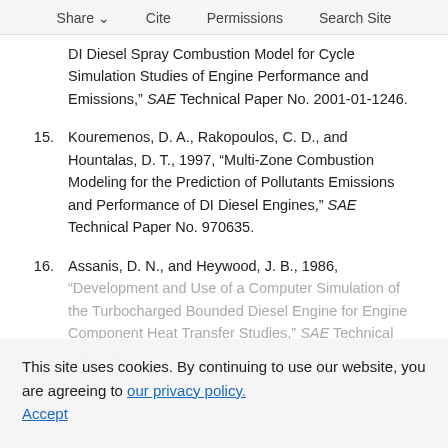Share  Cite  Permissions  Search Site
...yang, S., and Adams, D., 2001, "Multi-Zone DI Diesel Spray Combustion Model for Cycle Simulation Studies of Engine Performance and Emissions," SAE Technical Paper No. 2001-01-1246.
15. Kouremenos, D. A., Rakopoulos, C. D., and Hountalas, D. T., 1997, "Multi-Zone Combustion Modeling for the Prediction of Pollutants Emissions and Performance of DI Diesel Engines," SAE Technical Paper No. 970635.
16. Assanis, D. N., and Heywood, J. B., 1986, "Development and Use of a Computer Simulation of the Turbocharged Diesel System for Engine Performance and Component Heat Transfer Studies," SAE Technical Paper No. 860329.
This site uses cookies. By continuing to use our website, you are agreeing to our privacy policy. Accept